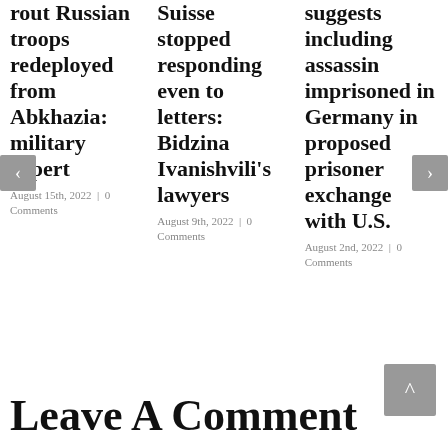rout Russian troops redeployed from Abkhazia: military expert
August 15th, 2022 | 0 Comments
Suisse stopped responding even to letters: Bidzina Ivanishvili's lawyers
August 9th, 2022 | 0 Comments
suggests including assassin imprisoned in Germany in proposed prisoner exchange with U.S.
August 2nd, 2022 | 0 Comments
Leave A Comment